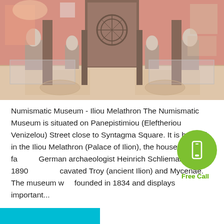[Figure (photo): Interior of the Numismatic Museum - Iliou Melathron, showing a grand hall with marble floors, display cases, pedestals with busts, and warm reddish-brown walls with decorative artwork.]
Numismatic Museum - Iliou Melathron The Numismatic Museum is situated on Panepistimiou (Eleftheriou Venizelou) Street close to Syntagma Square. It is housed in the Iliou Melathron (Palace of Ilion), the house of the famous German archaeologist Heinrich Schliemann (1822-1890), who excavated Troy (ancient Ilion) and Mycenae. The museum was founded in 1834 and displays important...